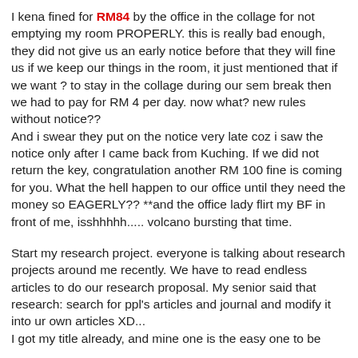I kena fined for RM84 by the office in the collage for not emptying my room PROPERLY. this is really bad enough, they did not give us an early notice before that they will fine us if we keep our things in the room, it just mentioned that if we want ? to stay in the collage during our sem break then we had to pay for RM 4 per day. now what? new rules without notice??
And i swear they put on the notice very late coz i saw the notice only after I came back from Kuching. If we did not return the key, congratulation another RM 100 fine is coming for you. What the hell happen to our office until they need the money so EAGERLY?? **and the office lady flirt my BF in front of me, isshhhhh..... volcano bursting that time.
Start my research project. everyone is talking about research projects around me recently. We have to read endless articles to do our research proposal. My senior said that research: search for ppl's articles and journal and modify it into ur own articles XD...
I got my title already, and mine one is the easy one to be